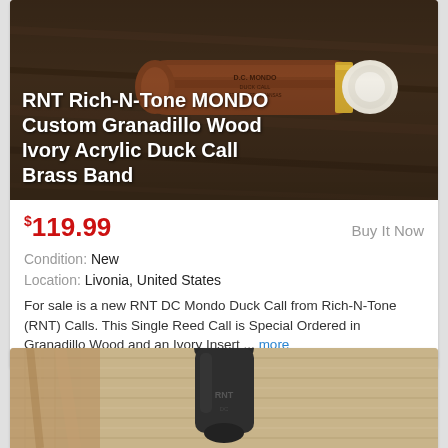[Figure (photo): RNT Rich-N-Tone MONDO Custom Granadillo Wood Ivory Acrylic Duck Call with Brass Band — close-up photo of wooden duck call on dark wooden surface]
RNT Rich-N-Tone MONDO Custom Granadillo Wood Ivory Acrylic Duck Call Brass Band
$119.99   Buy It Now
Condition: New
Location: Livonia, United States
For sale is a new RNT DC Mondo Duck Call from Rich-N-Tone (RNT) Calls. This Single Reed Call is Special Ordered in Granadillo Wood and an Ivory Insert ... more
[Figure (photo): Second product listing — close-up photo of a dark/black duck call on burlap fabric background, partially visible]